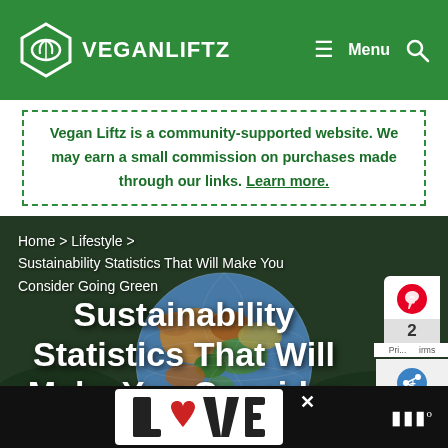VEGANLIFTZ | Menu
Vegan Liftz is a community-supported website. We may earn a small commission on purchases made through our links. Learn more.
Home > Lifestyle > Sustainability Statistics That Will Make You Consider Going Green
Sustainability Statistics That Will Make You Consider
[Figure (photo): Globe/earth ball on green foliage background, used as hero image for sustainability article]